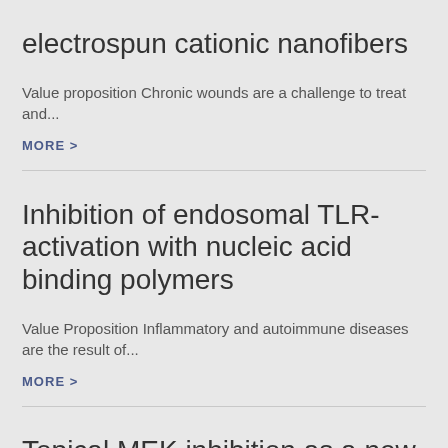electrospun cationic nanofibers
Value proposition Chronic wounds are a challenge to treat and...
MORE >
Inhibition of endosomal TLR-activation with nucleic acid binding polymers
Value Proposition Inflammatory and autoimmune diseases are the result of...
MORE >
Topical MEK inhibition as a new modality for inflammatory skin diseases and cancers
Unmet Need Inflammatory skin conditions affect many people, with a...